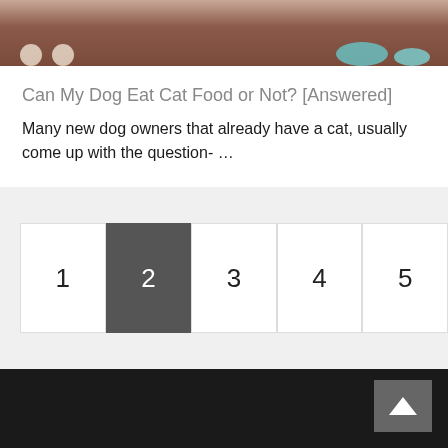[Figure (photo): Top portion of a photo showing pet food bowls on a brown wooden surface, with small paw-shaped treats visible and a teal/blue bowl in the background.]
Can My Dog Eat Cat Food or Not? [Answered]
Many new dog owners that already have a cat, usually come up with the question- …
[Figure (other): Pagination navigation showing page buttons 1, 2 (active/highlighted in dark gray), 3, 4, 5]